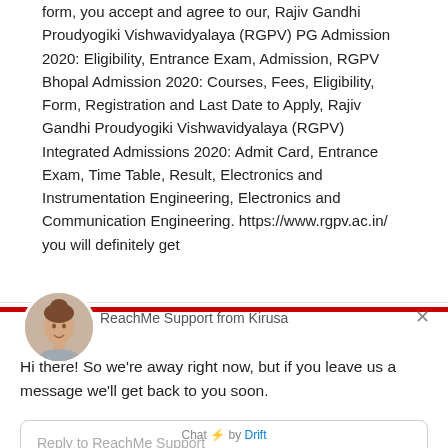form, you accept and agree to our, Rajiv Gandhi Proudyogiki Vishwavidyalaya (RGPV) PG Admission 2020: Eligibility, Entrance Exam, Admission, RGPV Bhopal Admission 2020: Courses, Fees, Eligibility, Form, Registration and Last Date to Apply, Rajiv Gandhi Proudyogiki Vishwavidyalaya (RGPV) Integrated Admissions 2020: Admit Card, Entrance Exam, Time Table, Result, Electronics and Instrumentation Engineering, Electronics and Communication Engineering. https://www.rgpv.ac.in/ you will definitely get
[Figure (photo): Chat widget popup with avatar photo of a woman, header 'ReachMe Support from Kirusa', message 'Hi there! So we're away right now, but if you leave us a message we'll get back to you soon.', reply input box, and 'Chat by Drift' footer]
ReachMe Support from Kirusa
Hi there! So we're away right now, but if you leave us a message we'll get back to you soon.
Reply to ReachMe Support
Chat ⚡ by Drift